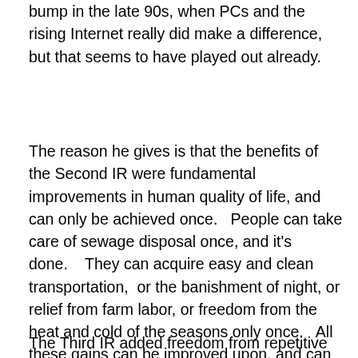bump in the late 90s, when PCs and the rising Internet really did make a difference, but that seems to have played out already.
The reason he gives is that the benefits of the Second IR were fundamental improvements in human quality of life, and can only be achieved once.   People can take care of sewage disposal once, and it's done.    They can acquire easy and clean transportation,  or the banishment of night, or relief from farm labor, or freedom from the heat and cold of the seasons only once.   All these gains can be improved upon, and can be more widely shared, but at some point future gains just aren't as great.   Electric lights can become more efficient, and safer, and cheaper and have better color, but the big change was from candles.
The Third IR added freedom from repetitive mental tasks,